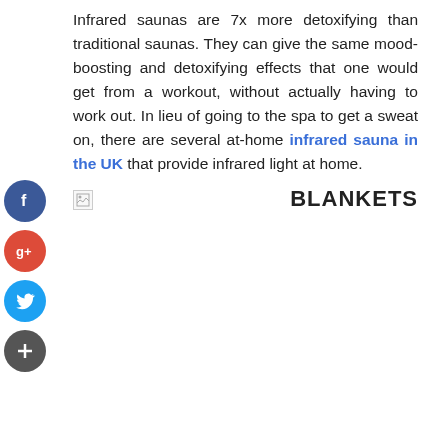Infrared saunas are 7x more detoxifying than traditional saunas. They can give the same mood-boosting and detoxifying effects that one would get from a workout, without actually having to work out. In lieu of going to the spa to get a sweat on, there are several at-home infrared sauna in the UK that provide infrared light at home.
[Figure (other): Broken image placeholder with 'BLANKETS' label to the right]